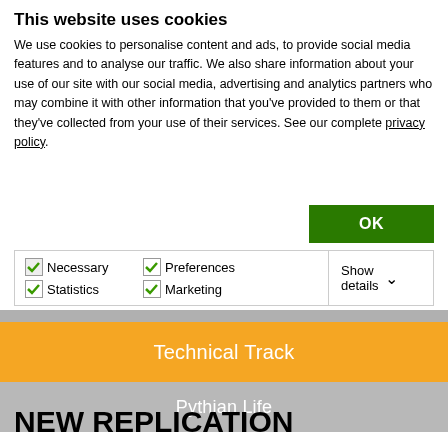This website uses cookies
We use cookies to personalise content and ads, to provide social media features and to analyse our traffic. We also share information about your use of our site with our social media, advertising and analytics partners who may combine it with other information that you've provided to them or that they've collected from your use of their services. See our complete privacy policy.
OK
Necessary  Preferences  Statistics  Marketing  Show details
Technical Track
Pythian Life
NEW REPLICATION